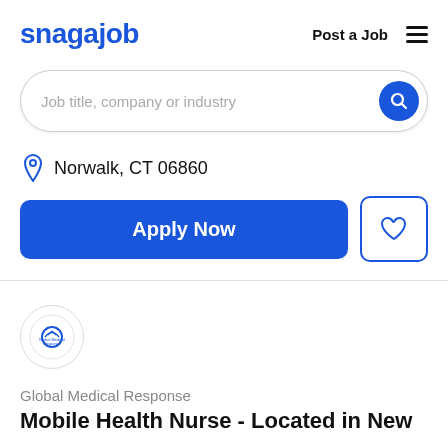snagajob   Post a Job  ≡
[Figure (screenshot): Search bar with placeholder text 'Job title, company or industry' and a blue circular search button]
Norwalk, CT 06860
[Figure (screenshot): Apply Now button (blue, rounded) and a heart/favorite button (outlined, blue border)]
[Figure (logo): Global Medical Response company logo in a circle]
Global Medical Response
Mobile Health Nurse - Located in New